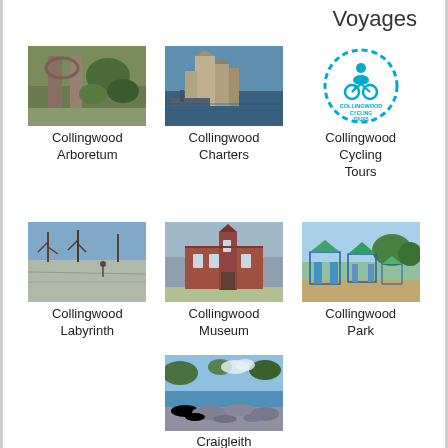Voyages
[Figure (photo): Photo of Collingwood Arboretum - stone archways and greenery]
Collingwood Arboretum
[Figure (photo): Photo of Collingwood Charters - grain elevator and waterfront]
Collingwood Charters
[Figure (logo): Collingwood Cycling Tours logo - cyclist with chain border]
Collingwood Cycling Tours
[Figure (photo): Photo of Collingwood Labyrinth - waterfront flat area with bare trees]
Collingwood Labyrinth
[Figure (photo): Photo of Collingwood Museum - red brick heritage building]
Collingwood Museum
[Figure (photo): Photo of Collingwood Park - green gazebo playground structures]
Collingwood Park
[Figure (photo): Photo of Craigleith Provincial Park - rocky shoreline with blue water]
Craigleith Provincial